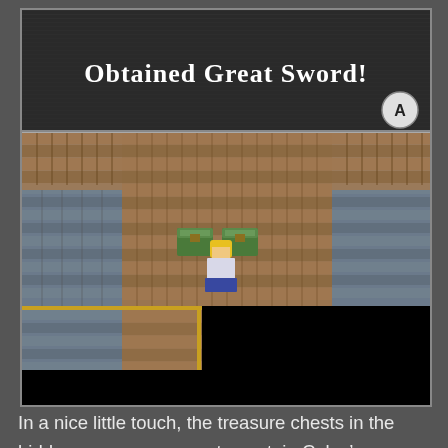[Figure (screenshot): A retro RPG game screenshot showing a dungeon/castle interior scene. At the top is a dark text box with white pixel-font text reading 'Obtained Great Sword!' with a circular button icon (A button) on the right. The main game area shows a top-down view of a stone dungeon floor with brick walls and two treasure chests in the center. A character sprite (Celes) stands in front of the chests. The lower portion of the screenshot is filled with black space.]
In a nice little touch, the treasure chests in the hidden passage appear to contain Celes’ armor and weapons, which the Empire obviously stripped from her when she was put into prison for being insufficiently horrible.